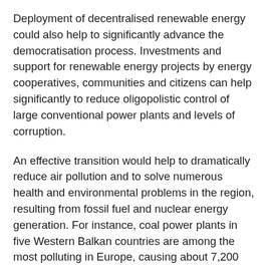Deployment of decentralised renewable energy could also help to significantly advance the democratisation process. Investments and support for renewable energy projects by energy cooperatives, communities and citizens can help significantly to reduce oligopolistic control of large conventional power plants and levels of corruption.
An effective transition would help to dramatically reduce air pollution and to solve numerous health and environmental problems in the region, resulting from fossil fuel and nuclear energy generation. For instance, coal power plants in five Western Balkan countries are among the most polluting in Europe, causing about 7,200 premature deaths per year. Depending on weather and wind conditions, air pollutants can travel more than 1,000 km and cause damage to health in neighbouring EU countries and beyond.
Last but not least, renewable energy deployment can foster regional cooperation through the expansion of